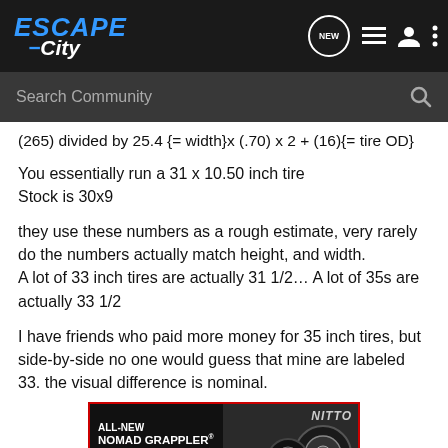Escape City navigation header with logo and icons
Search Community
You essentially run a 31 x 10.50 inch tire
Stock is 30x9
they use these numbers as a rough estimate, very rarely do the numbers actually match height, and width.
A lot of 33 inch tires are actually 31 1/2… A lot of 35s are actually 33 1/2
I have friends who paid more money for 35 inch tires, but side-by-side no one would guess that mine are labeled 33. the visual difference is nominal.
[Figure (photo): Nitto All-New Nomad Grappler Crossover-Terrain Tire advertisement banner showing tires and a vehicle wheel]
this is a